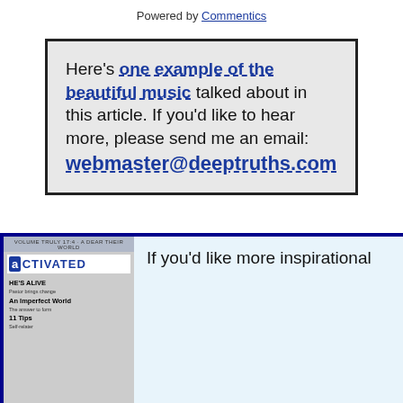Powered by Commentics
Here's one example of the beautiful music talked about in this article. If you'd like to hear more, please send me an email: webmaster@deeptruths.com
[Figure (photo): Activated magazine cover featuring crocus flowers and the text HE'S ALIVE, An Imperfect World, 11 Tips]
If you'd like more inspirational